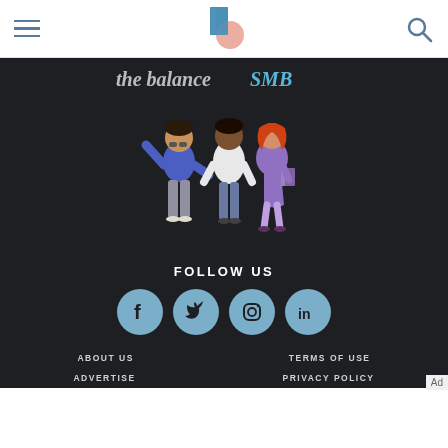the balance SMB
[Figure (illustration): Three illustrated people standing together: a person in a blue sweater raising their hand, a person in a white shirt, and a woman with red hair in a purple dress holding a book]
FOLLOW US
[Figure (infographic): Four social media icons in blue circles: Facebook, Twitter, Instagram, LinkedIn]
ABOUT US
TERMS OF USE
ADVERTISE
PRIVACY POLICY